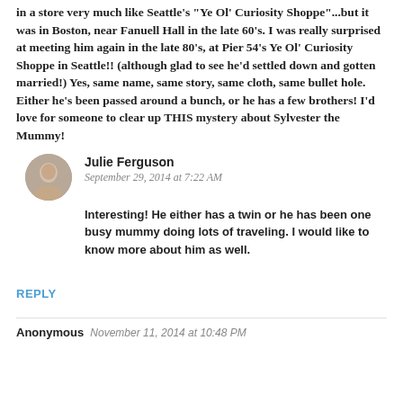in a store very much like Seattle's "Ye Ol' Curiosity Shoppe"...but it was in Boston, near Fanuell Hall in the late 60's. I was really surprised at meeting him again in the late 80's, at Pier 54's Ye Ol' Curiosity Shoppe in Seattle!! (although glad to see he'd settled down and gotten married!) Yes, same name, same story, same cloth, same bullet hole. Either he's been passed around a bunch, or he has a few brothers! I'd love for someone to clear up THIS mystery about Sylvester the Mummy!
Julie Ferguson
September 29, 2014 at 7:22 AM
Interesting! He either has a twin or he has been one busy mummy doing lots of traveling. I would like to know more about him as well.
REPLY
Anonymous  November 11, 2014 at 10:48 PM